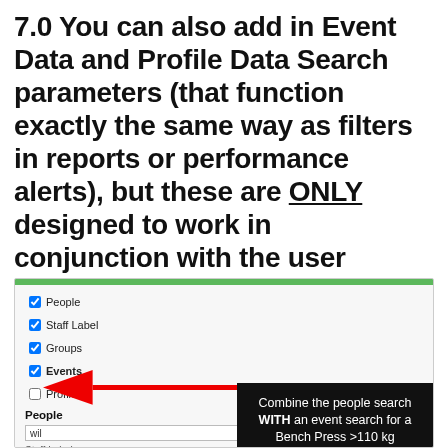7.0 You can also add in Event Data and Profile Data Search parameters (that function exactly the same way as filters in reports or performance alerts), but these are ONLY designed to work in conjunction with the user search parameters set for people, staff or groups.
[Figure (screenshot): A screenshot showing a checklist with checkboxes for People, Staff Label, Groups, Events (checked, with a red arrow pointing to it), and Profiles (unchecked). Below is a People search field with 'wil' typed in and a Staff Label field. A black tooltip overlay on the right reads: 'Combine the people search WITH an event search for a Bench Press >110 kg']